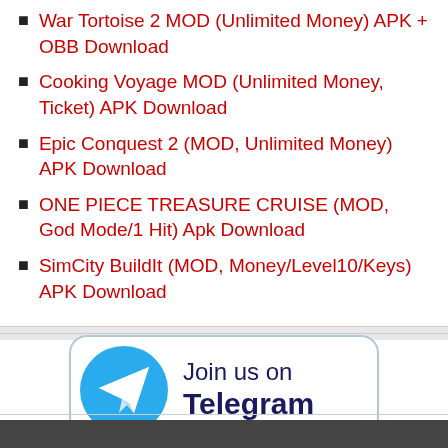War Tortoise 2 MOD (Unlimited Money) APK + OBB Download
Cooking Voyage MOD (Unlimited Money, Ticket) APK Download
Epic Conquest 2 (MOD, Unlimited Money) APK Download
ONE PIECE TREASURE CRUISE (MOD, God Mode/1 Hit) Apk Download
SimCity BuildIt (MOD, Money/Level10/Keys) APK Download
[Figure (infographic): Join us on Telegram button with Telegram logo (blue circle with white paper plane icon) on the left and text 'Join us on Telegram' on the right inside a rounded rectangle border]